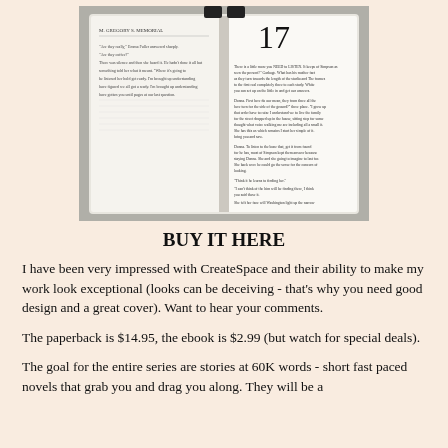[Figure (photo): Photograph of an open book showing two pages. The right page has a large chapter number '17' at the top and paragraphs of text below. The left page shows dense text with a header.]
BUY IT HERE
I have been very impressed with CreateSpace and their ability to make my work look exceptional (looks can be deceiving - that's why you need good design and a great cover). Want to hear your comments.
The paperback is $14.95, the ebook is $2.99 (but watch for special deals).
The goal for the entire series are stories at 60K words - short fast paced novels that grab you and drag you along. They will be a